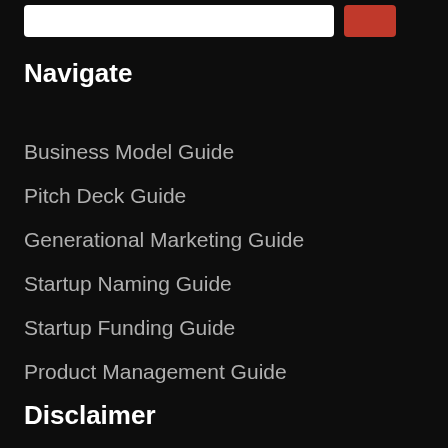[Figure (screenshot): Search bar with white input field and red search button]
Navigate
Business Model Guide
Pitch Deck Guide
Generational Marketing Guide
Startup Naming Guide
Startup Funding Guide
Product Management Guide
Disclaimer